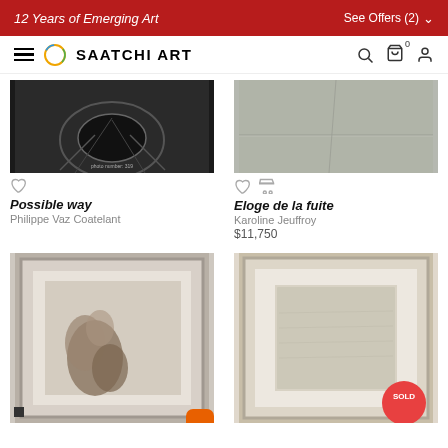12 Years of Emerging Art | See Offers (2)
[Figure (screenshot): Saatchi Art navigation bar with hamburger menu, logo, search, cart, and profile icons]
[Figure (photo): Black and white photo of a large bird nest structure against a brick wall]
[Figure (photo): Photo of a concrete floor/pavement surface]
Possible way
Philippe Vaz Coatelant
Eloge de la fuite
Karoline Jeuffroy
$11,750
[Figure (photo): Framed artwork with organic sculptural elements on fabric background]
[Figure (photo): Framed artwork with textured surface, marked as SOLD]